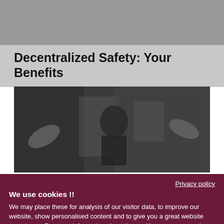Decentralized Safety: Your Benefits
[Figure (photo): A person wearing glasses working with robotic arm equipment in a dark industrial setting]
Privacy policy
We use cookies !!
We may place these for analysis of our visitor data, to improve our website, show personalised content and to give you a great website experience. For more information about the cookies we use open the settings.
Accept all
Deny
No, adjust